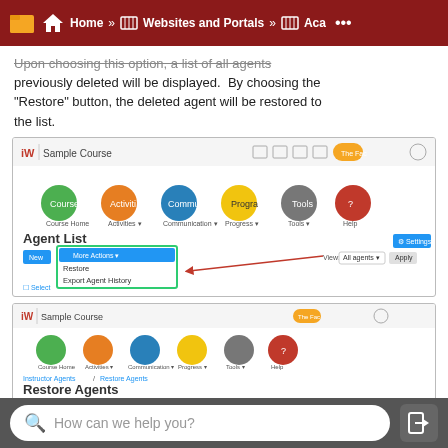Home » Websites and Portals » Aca...
Upon choosing this option, a list of all agents previously deleted will be displayed.  By choosing the "Restore" button, the deleted agent will be restored to the list.
[Figure (screenshot): Screenshot of a Sample Course Agent List page showing a dropdown menu with options including 'More Actions', 'Restore', and 'Export Agent History', with an arrow pointing to 'Restore'.]
[Figure (screenshot): Screenshot of a Sample Course Restore Agents page showing a table with columns: Agent, Deleted by, Date Deleted, Action.]
How can we help you?